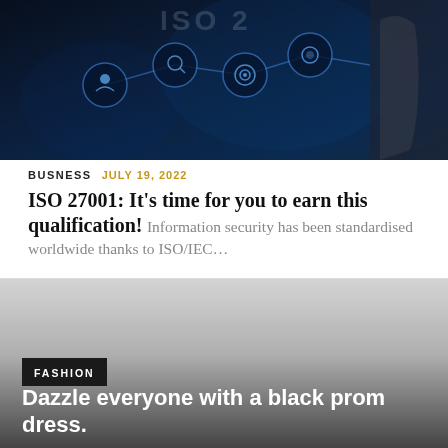[Figure (photo): Dark blue tech background with glowing circular icons connected by lines, hand touching digital interface screen]
BUSNESS  JULY 19, 2022
ISO 27001: It's time for you to earn this qualification!
Information security has been standardised worldwide thanks to ISO/IEC…
[Figure (photo): Gray gradient background image for fashion article about black prom dress]
FASHION
Dazzle everyone with a black prom dress.